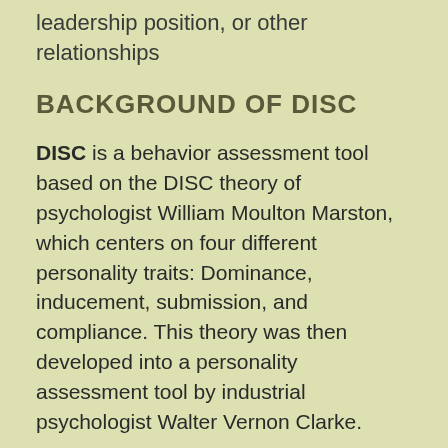leadership position, or other relationships
BACKGROUND OF DISC
DISC is a behavior assessment tool based on the DISC theory of psychologist William Moulton Marston, which centers on four different personality traits: Dominance, inducement, submission, and compliance. This theory was then developed into a personality assessment tool by industrial psychologist Walter Vernon Clarke.
There are many different versions of the test. Because the versions of the assessment do vary, our DISC facilitators are cautioned to ask for evidence for the validity of a prospective version before using.